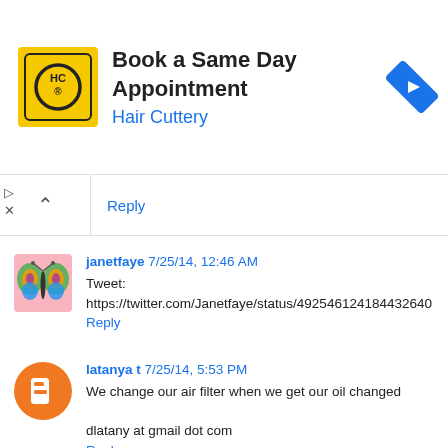[Figure (screenshot): Hair Cuttery ad banner with logo, title 'Book a Same Day Appointment', subtitle 'Hair Cuttery', and navigation arrow icon]
Reply
janetfaye 7/25/14, 12:46 AM
Tweet:
https://twitter.com/Janetfaye/status/492546124184432640
Reply
latanya t 7/25/14, 5:53 PM
We change our air filter when we get our oil changed
dlatany at gmail dot com
Reply